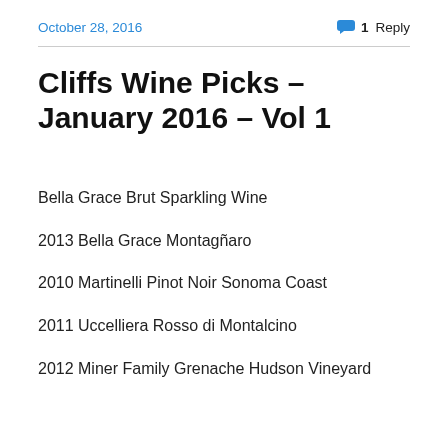October 28, 2016
1 Reply
Cliffs Wine Picks – January 2016 – Vol 1
Bella Grace Brut Sparkling Wine
2013 Bella Grace Montagñaro
2010 Martinelli Pinot Noir Sonoma Coast
2011 Uccelliera Rosso di Montalcino
2012 Miner Family Grenache Hudson Vineyard